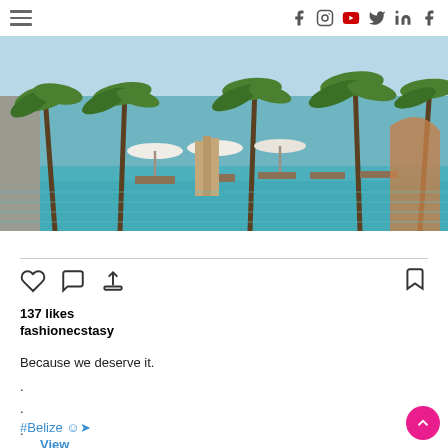Navigation header with hamburger menu and social icons (Facebook, Instagram, YouTube, Twitter, LinkedIn, Facebook)
[Figure (photo): Tropical beach resort photo showing an infinity pool with palm trees, white beach umbrellas, a dock/pier extending into turquoise ocean water, and lounge chairs]
View more on Instagram
137 likes
fashionecstasy
Because we deserve it.
.
.
.
.
.
#Belize 😊✈
.
.